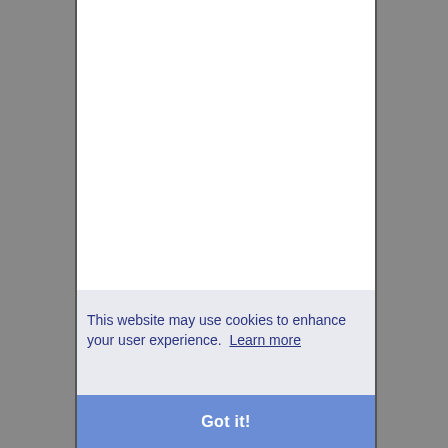This website may use cookies to enhance your user experience. Learn more
Got it!